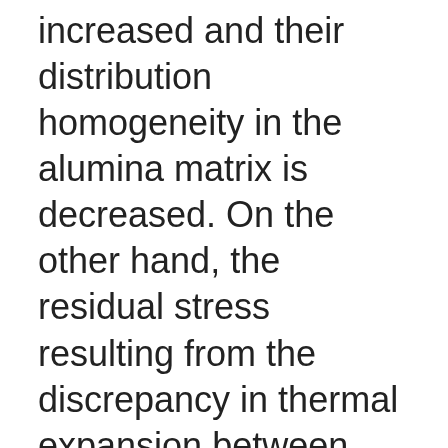increased and their distribution homogeneity in the alumina matrix is decreased. On the other hand, the residual stress resulting from the discrepancy in thermal expansion between SiC? and Al2O3 is increased, which is eventually released, causing the grain boundaries to get clinched. As a result, with the